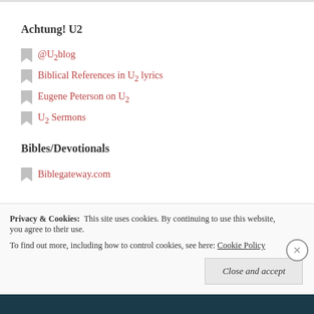Achtung! U2
@U2blog
Biblical References in U2 lyrics
Eugene Peterson on U2
U2 Sermons
Bibles/Devotionals
Biblegateway.com
Privacy & Cookies: This site uses cookies. By continuing to use this website, you agree to their use. To find out more, including how to control cookies, see here: Cookie Policy
Close and accept